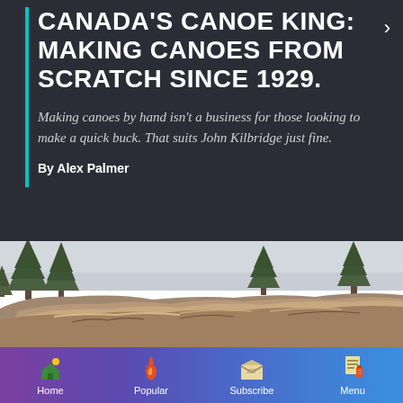CANADA'S CANOE KING: MAKING CANOES FROM SCRATCH SINCE 1929.
Making canoes by hand isn't a business for those looking to make a quick buck. That suits John Kilbridge just fine.
By Alex Palmer
[Figure (photo): Outdoor landscape photo showing pine trees, overcast sky, and a rocky outcrop with granite boulders in the foreground.]
Home  Popular  Subscribe  Menu